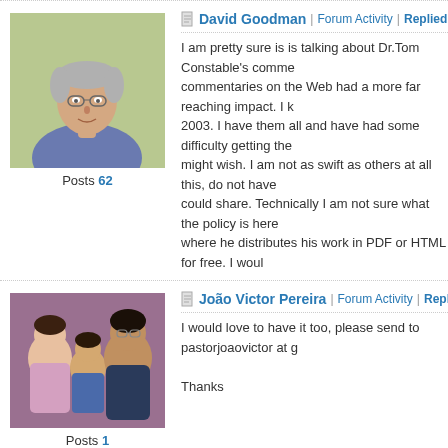David Goodman | Forum Activity | Replied: Wed, May 27 2015 8:13
I am pretty sure is is talking about Dr.Tom Constable's comme... commentaries on the Web had a more far reaching impact. I k... 2003. I have them all and have had some difficulty getting the... might wish. I am not as swift as others at all this, do not have... could share. Technically I am not sure what the policy is here... where he distributes his work in PDF or HTML for free. I woul...
Posts 62
João Victor Pereira | Forum Activity | Replied: Tue, Jun 2 2015 7:1
I would love to have it too, please send to pastorjoaovictor at g...

Thanks
Posts 1
Page 3 of 3 (54 items) < Previous 1 2 3 | RSS
[Figure (illustration): Ad banner showing book cover 'Everyday Theology' with a circular icon and blue panel with text 'FREE: Ev... How to Read Cu...']